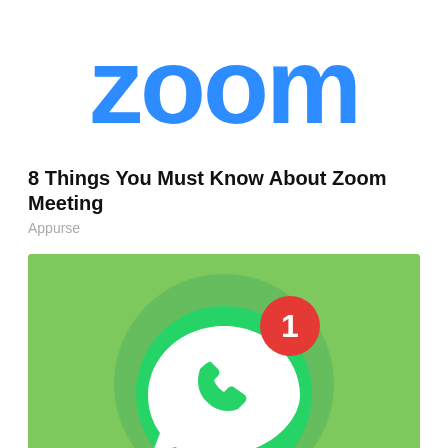[Figure (logo): Zoom logo in blue rounded lettering on white background]
8 Things You Must Know About Zoom Meeting
Appurse
[Figure (illustration): WhatsApp icon on bright green background with a red notification badge showing the number 1]